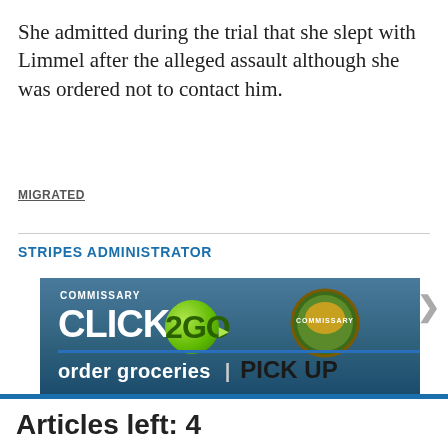She admitted during the trial that she slept with Limmel after the alleged assault although she was ordered not to contact him.
MIGRATED
STRIPES ADMINISTRATOR
[Figure (screenshot): Commissary Click2Go advertisement banner with green logo and commissary badge on dark blue background, showing 'order groceries' text at bottom]
Articles left: 4
Subscribe to get unlimited access Subscribe
Already have an account? Login here